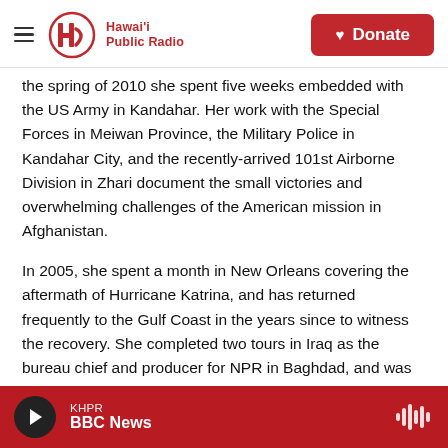Hawai'i Public Radio — Donate
the spring of 2010 she spent five weeks embedded with the US Army in Kandahar. Her work with the Special Forces in Meiwan Province, the Military Police in Kandahar City, and the recently-arrived 101st Airborne Division in Zhari document the small victories and overwhelming challenges of the American mission in Afghanistan.
In 2005, she spent a month in New Orleans covering the aftermath of Hurricane Katrina, and has returned frequently to the Gulf Coast in the years since to witness the recovery. She completed two tours in Iraq as the bureau chief and producer for NPR in Baghdad, and was part of the team that won an Alfred I. duPont-Columbia University Award for coverage of the American
KHPR BBC News